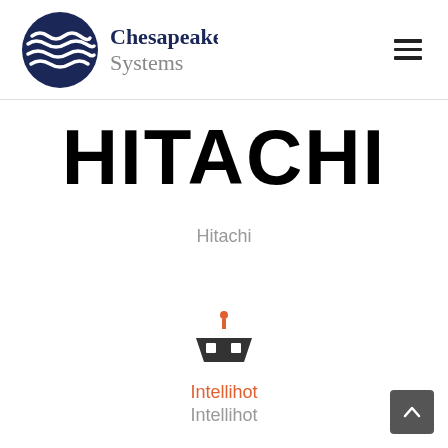[Figure (logo): Chesapeake Systems logo with circular wave graphic and text 'Chesapeake Systems']
[Figure (logo): Hitachi logo in large bold black text]
Hitachi
[Figure (logo): Intellihot logo: small boat/ship icon with orange dot on top]
Intellihot
Intellihot